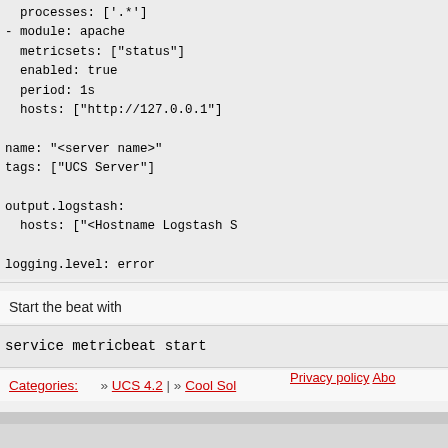processes: ['.*']
- module: apache
  metricsets: ["status"]
  enabled: true
  period: 1s
  hosts: ["http://127.0.0.1"]

name: "<server name>"
tags: ["UCS Server"]

output.logstash:
  hosts: ["<Hostname Logstash S

logging.level: error
Start the beat with
service metricbeat start
Categories:   » UCS 4.2 | » Cool Sol
[Figure (logo): Powered by MediaWiki logo]
Privacy policy  Abo